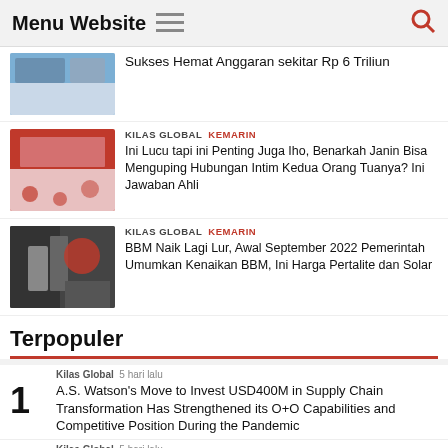Menu Website
Sukses Hemat Anggaran sekitar Rp 6 Triliun
KILAS GLOBAL  KEMARIN
Ini Lucu tapi ini Penting Juga Iho, Benarkah Janin Bisa Menguping Hubungan Intim Kedua Orang Tuanya? Ini Jawaban Ahli
KILAS GLOBAL  KEMARIN
BBM Naik Lagi Lur, Awal September 2022 Pemerintah Umumkan Kenaikan BBM, Ini Harga Pertalite dan Solar
Terpopuler
Kilas Global  5 hari lalu
1 A.S. Watson's Move to Invest USD400M in Supply Chain Transformation Has Strengthened its O+O Capabilities and Competitive Position During the Pandemic
Kilas Global  5 hari lalu
2 ...